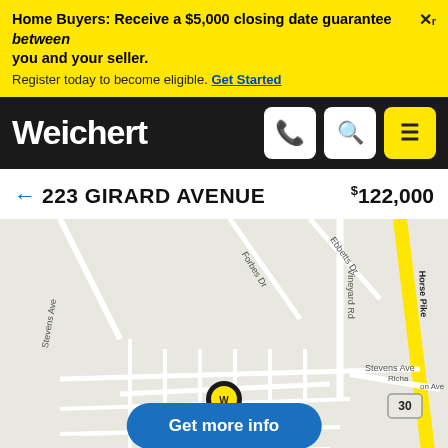Home Buyers: Receive a $5,000 closing date guarantee between you and your seller. Register today to become eligible. Get Started
[Figure (logo): Weichert real estate logo and navigation bar with phone, search, and menu icons]
← 223 GIRARD AVENUE $122,000
[Figure (map): Street map showing the location of 223 Girard Avenue near West Atco, showing Stevens Ave, Forbes Dr, Ebbetts Dr, Vineyard Rd, Horse Pike, Richardson Ave, Camden Ave, 9th Ave area with a Weichert map pin marker and a Get more info button overlay]